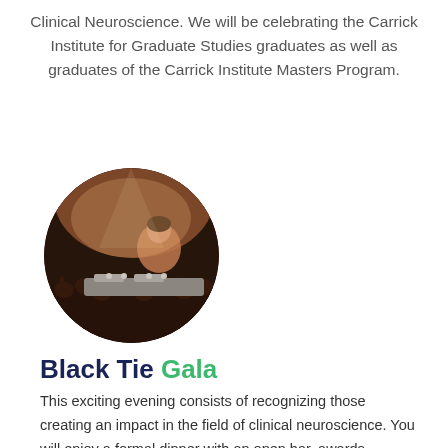Clinical Neuroscience. We will be celebrating the Carrick Institute for Graduate Studies graduates as well as graduates of the Carrick Institute Masters Program.
[Figure (photo): Circular cropped photo of a DJ performing at an event with a crowd visible in the background under warm lighting.]
Black Tie Gala
This exciting evening consists of recognizing those creating an impact in the field of clinical neuroscience. You will enjoy a formal dinner with an open bar, awards ceremony, incredible music, dancing and much more! Hours of this special event